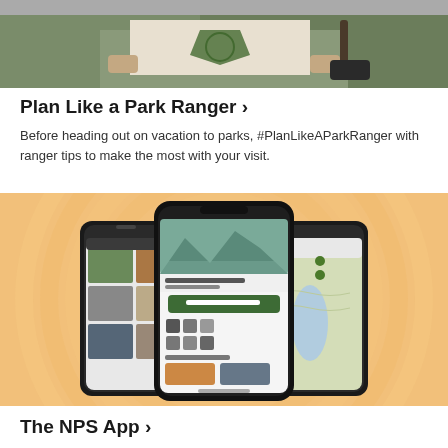[Figure (photo): Two people in park ranger uniforms holding a paper sign with National Park Service logo, cropped to show hands and torsos]
Plan Like a Park Ranger ›
Before heading out on vacation to parks, #PlanLikeAParkRanger with ranger tips to make the most with your visit.
[Figure (screenshot): NPS mobile app promotional image showing three smartphone screens on an orange/peach swirl background, displaying national parks content, a Find a Park interface, and a map view]
The NPS App ›